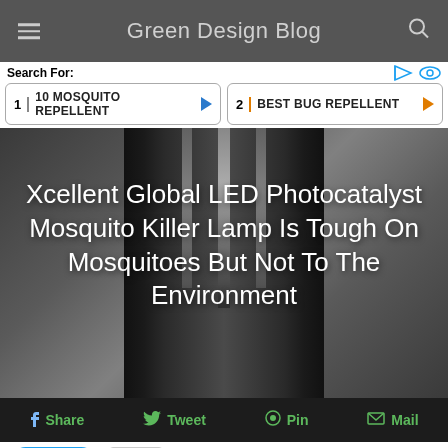Green Design Blog
Search For:
1  10 MOSQUITO REPELLENT
2  BEST BUG REPELLENT
[Figure (photo): Close-up photo of a black LED mosquito killer lamp device against a dark background]
Xcellent Global LED Photocatalyst Mosquito Killer Lamp Is Tough On Mosquitoes But Not To The Environment
Share  Tweet  Pin  Mail
Tweet  0